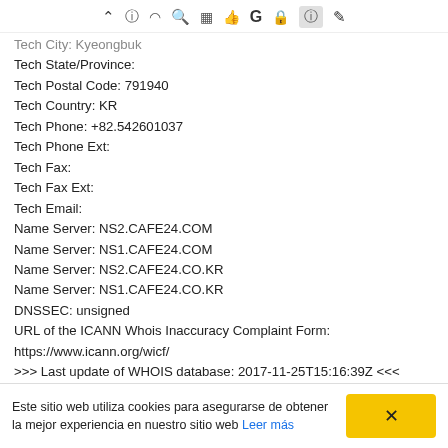Toolbar icons (navigation bar)
Tech City: Kyeongbuk
Tech State/Province:
Tech Postal Code: 791940
Tech Country: KR
Tech Phone: +82.542601037
Tech Phone Ext:
Tech Fax:
Tech Fax Ext:
Tech Email:
Name Server: NS2.CAFE24.COM
Name Server: NS1.CAFE24.COM
Name Server: NS2.CAFE24.CO.KR
Name Server: NS1.CAFE24.CO.KR
DNSSEC: unsigned
URL of the ICANN Whois Inaccuracy Complaint Form:
https://www.icann.org/wicf/
>>> Last update of WHOIS database: 2017-11-25T15:16:39Z <<<

For more information on Whois status codes, please visit
https://icann.org/epp
Este sitio web utiliza cookies para asegurarse de obtener la mejor experiencia en nuestro sitio web Leer más